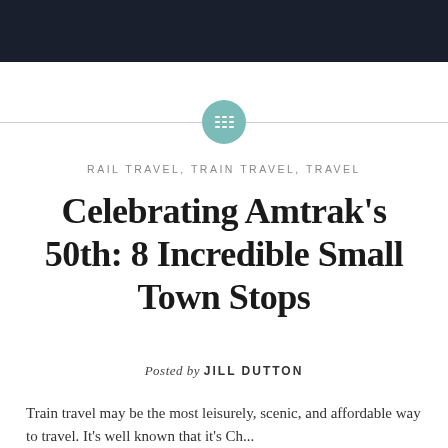[Figure (illustration): Teal circular icon with a grid/list symbol in white, flanked by horizontal lines on each side]
RAIL TRAVEL, TRAIN TRAVEL, TRAVEL
Celebrating Amtrak’s 50th: 8 Incredible Small Town Stops
Posted by JILL DUTTON
Train travel may be the most leisurely, scenic, and affordable way to travel. It’s well known that it’s Ch...